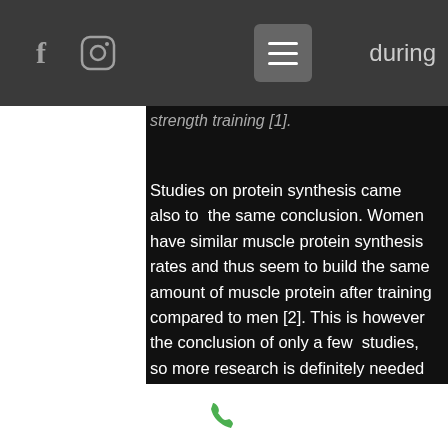f [instagram icon] [hamburger menu] during
strength training [1].
Studies on protein synthesis came also to the same conclusion. Women have similar muscle protein synthesis rates and thus seem to build the same amount of muscle protein after training compared to men [2]. This is however the conclusion of only a few studies, so more research is definitely needed to be 100% clear that women do naturally have the same muscle building potential. However, this is difficult because these studies take a long time and need to be well-controlled.
[phone icon]